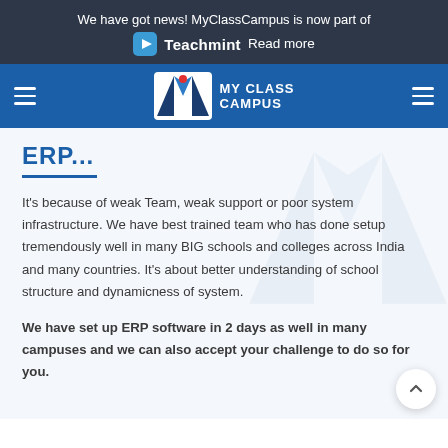We have got news! MyClassCampus is now part of Teachmint Read more
[Figure (logo): My Class Campus logo with hamburger menus on navigation bar]
ERP...
It's because of weak Team, weak support or poor system infrastructure. We have best trained team who has done setup tremendously well in many BIG schools and colleges across India and many countries. It's about better understanding of school structure and dynamicness of system.
We have set up ERP software in 2 days as well in many campuses and we can also accept your challenge to do so for you.